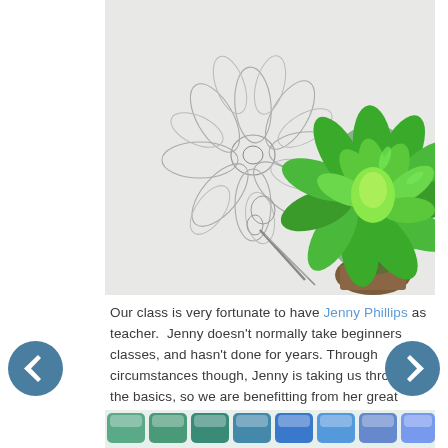[Figure (photo): Photo showing a pencil sketch of a succulent flower on white paper next to a real green succulent plant]
Our class is very fortunate to have Jenny Phillips as teacher. Jenny doesn't normally take beginners classes, and hasn't done for years. Through circumstances though, Jenny is taking us through the basics, so we are benefitting from her great talent and passion for the art.
[Figure (photo): Partial photo at bottom showing watercolor paint swatches in teal, green and blue tones]